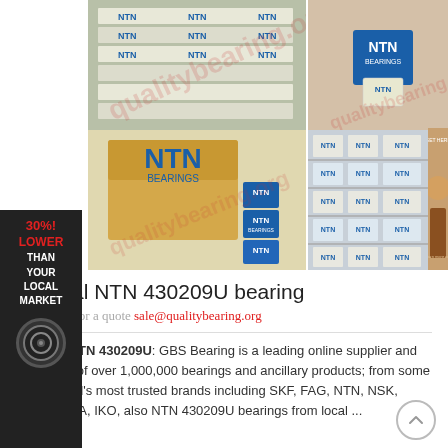[Figure (photo): Grid of NTN bearing product photos showing boxes of NTN bearings stacked, NTN Bearings packaging, NTN large shipping box with small NTN bearing boxes, and shelves full of NTN bearing boxes]
Original NTN 430209U bearing
Contact us for a quote sale@qualitybearing.org
Original NTN 430209U: GBS Bearing is a leading online supplier and distributor of over 1,000,000 bearings and ancillary products; from some of the world's most trusted brands including SKF, FAG, NTN, NSK, Timken, INA, IKO, also NTN 430209U bearings from local ...